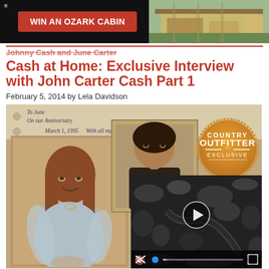[Figure (other): Advertisement banner: WIN AN OZARK CABIN button on black background with cabin photo on right]
Johnny Cash and June Carter Cash at Home: Exclusive Interview with John Carter Cash Part 1
February 5, 2014 by Lela Davidson
[Figure (photo): Composite image: handwritten note to June on 1995 anniversary, photo of June Carter Cash smiling in light blue top, photo of Johnny Cash, Country Outfitter Exclusive badge, and video overlay showing aerial winter forest footage with play button and video controls]